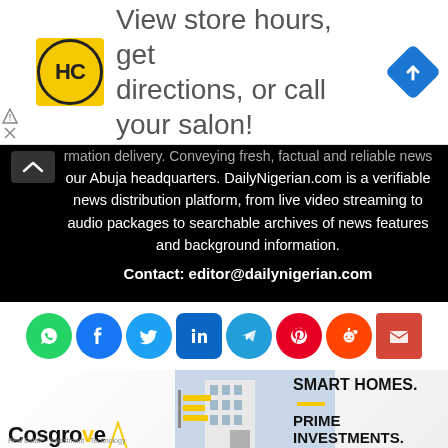[Figure (advertisement): HC salon ad banner: yellow HC logo circle, text 'View store hours, get directions, or call your salon!', blue diamond navigation arrow icon on right]
rmation delivery. Conveying fresh, factual and reliable news our Abuja headquarters. DailyNigerian.com is a verifiable news distribution platform, from live video streaming to audio packages to searchable archives of news features and background information.
Contact: editor@dailynigerian.com
[Figure (infographic): Row of social media icons: WhatsApp, Facebook, Twitter, LinkedIn, Telegram, Pinterest, Reddit, Email]
[Figure (advertisement): Cosgrove Real Estate ad: logo with yellow arrow, building photo, text 'SMART HOMES. PRIME INVESTMENTS.']